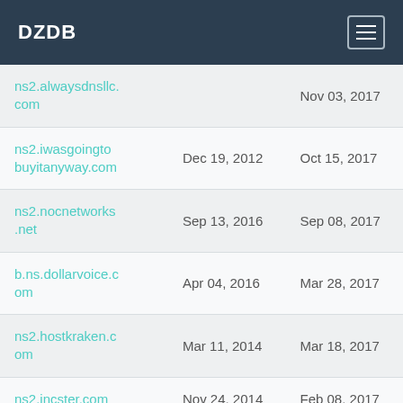DZDB
| Name | First Seen | Last Seen |
| --- | --- | --- |
| ns2.alwaysdnsllc.com |  | Nov 03, 2017 |
| ns2.iwasgoingto buyitanyway.com | Dec 19, 2012 | Oct 15, 2017 |
| ns2.nocnetworks.net | Sep 13, 2016 | Sep 08, 2017 |
| b.ns.dollarvoice.com | Apr 04, 2016 | Mar 28, 2017 |
| ns2.hostkraken.com | Mar 11, 2014 | Mar 18, 2017 |
| ns2.incster.com | Nov 24, 2014 | Feb 08, 2017 |